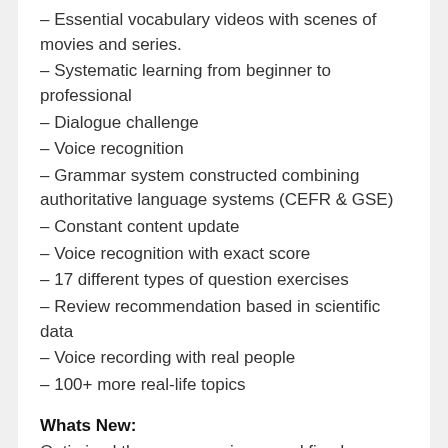– Essential vocabulary videos with scenes of movies and series.
– Systematic learning from beginner to professional
– Dialogue challenge
– Voice recognition
– Grammar system constructed combining authoritative language systems (CEFR & GSE)
– Constant content update
– Voice recognition with exact score
– 17 different types of question exercises
– Review recommendation based in scientific data
– Voice recording with real people
– 100+ more real-life topics
Whats New:
Optimized the user experience and fixed some tiny bugs
Mod Info:
Plus Subscription / Paid features unlocked